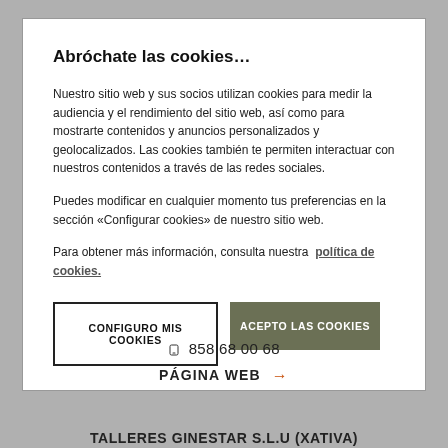Abróchate las cookies…
Nuestro sitio web y sus socios utilizan cookies para medir la audiencia y el rendimiento del sitio web, así como para mostrarte contenidos y anuncios personalizados y geolocalizados. Las cookies también te permiten interactuar con nuestros contenidos a través de las redes sociales.
Puedes modificar en cualquier momento tus preferencias en la sección «Configurar cookies» de nuestro sitio web.
Para obtener más información, consulta nuestra  política de cookies.
CONFIGURO MIS COOKIES
ACEPTO LAS COOKIES
📞 858 68 00 68
PÁGINA WEB →
TALLERES GINESTAR S.L.U (XATIVA)